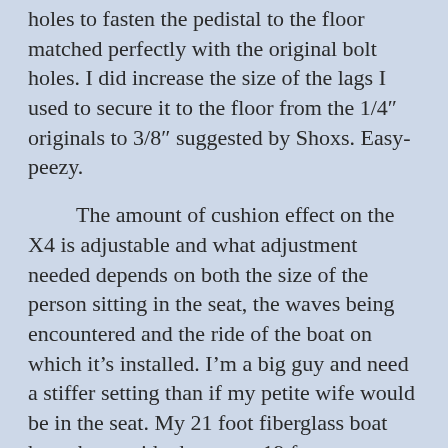holes to fasten the pedistal to the floor matched perfectly with the original bolt holes. I did increase the size of the lags I used to secure it to the floor from the 1/4″ originals to 3/8″ suggested by Shoxs. Easy-peezy.
The amount of cushion effect on the X4 is adjustable and what adjustment needed depends on both the size of the person sitting in the seat, the waves being encountered and the ride of the boat on which it's installed. I'm a big guy and need a stiffer setting than if my petite wife would be in the seat. My 21 foot fiberglass boat has a better ride than your 19 foot aluminum model. Adjust as needed.